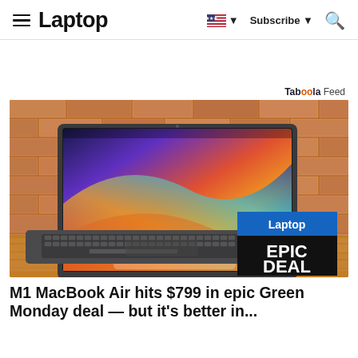Laptop — Subscribe — Search
Taboola Feed
[Figure (photo): MacBook Air with M1 chip open on a wooden surface against a brick wall background, showing colorful macOS wallpaper. A 'Laptop EPIC DEAL' badge is overlaid in the bottom right corner.]
M1 MacBook Air hits $799 in epic Green Monday deal — but it's better in...